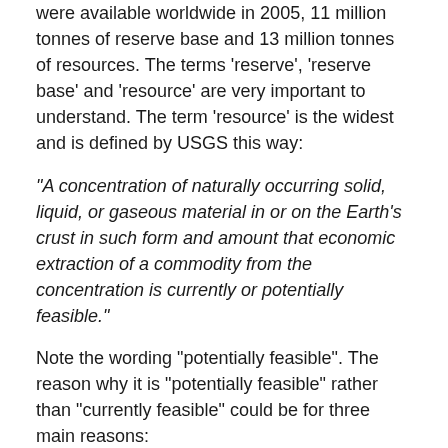were available worldwide in 2005, 11 million tonnes of reserve base and 13 million tonnes of resources. The terms 'reserve', 'reserve base' and 'resource' are very important to understand. The term 'resource' is the widest and is defined by USGS this way:
“A concentration of naturally occurring solid, liquid, or gaseous material in or on the Earth’s crust in such form and amount that economic extraction of a commodity from the concentration is currently or potentially feasible.”
Note the wording “potentially feasible”. The reason why it is “potentially feasible” rather than “currently feasible” could be for three main reasons:
The technology is currently not available to extract the metal or mineral but feasible technology is in existance.